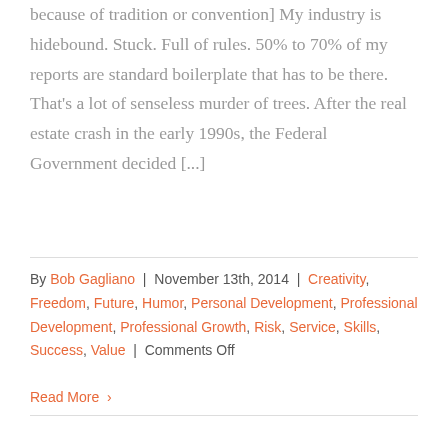because of tradition or convention] My industry is hidebound. Stuck. Full of rules. 50% to 70% of my reports are standard boilerplate that has to be there. That's a lot of senseless murder of trees. After the real estate crash in the early 1990s, the Federal Government decided [...]
By Bob Gagliano | November 13th, 2014 | Creativity, Freedom, Future, Humor, Personal Development, Professional Development, Professional Growth, Risk, Service, Skills, Success, Value | Comments Off
Read More ›